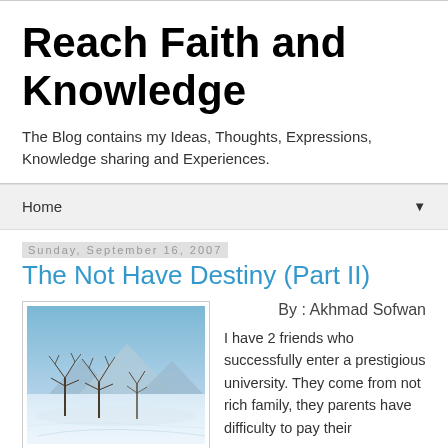Reach Faith and Knowledge
The Blog contains my Ideas, Thoughts, Expressions, Knowledge sharing and Experiences.
Home
Sunday, September 16, 2007
The Not Have Destiny (Part II)
[Figure (photo): Winter landscape with bare trees in a snowy field with mountains in the background under a blue sky]
By : Akhmad Sofwan
I have 2 friends who successfully enter a prestigious university. They come from not rich family, they parents have difficulty to pay their advance education, but they get university by scholarship